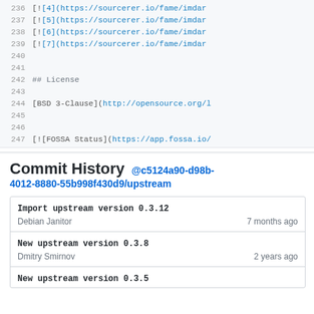236  [![4](https://sourcerer.io/fame/imdar...
237  [![5](https://sourcerer.io/fame/imdar...
238  [![6](https://sourcerer.io/fame/imdar...
239  [![7](https://sourcerer.io/fame/imdar...
240
241
242  ## License
243
244  [BSD 3-Clause](http://opensource.org/l...
245
246
247  [![FOSSA Status](https://app.fossa.io/...
Commit History @c5124a90-d98b-4012-8880-55b998f430d9/upstream
| Commit | Time |
| --- | --- |
| Import upstream version 0.3.12 |  |
| Debian Janitor | 7 months ago |
| New upstream version 0.3.8 |  |
| Dmitry Smirnov | 2 years ago |
| New upstream version 0.3.5 |  |